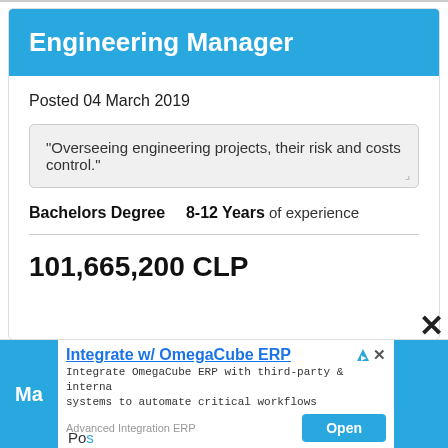Engineering Manager
Posted 04 March 2019
"Overseeing engineering projects, their risk and costs control."
Bachelors Degree   8-12 Years of experience
101,665,200 CLP
[Figure (screenshot): Advertisement overlay for OmegaCube ERP integration. Title: 'Integrate w/ OmegaCube ERP'. Body: 'Integrate OmegaCube ERP with third-party & internal systems to automate critical workflows'. Source: 'Advanced Integration ERP'. Button: 'Open'.]
Ma
Po